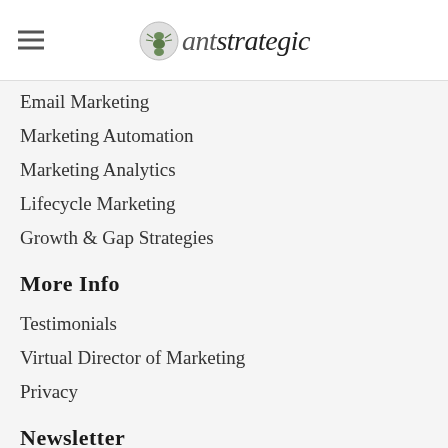ant strategic
Email Marketing
Marketing Automation
Marketing Analytics
Lifecycle Marketing
Growth & Gap Strategies
More Info
Testimonials
Virtual Director of Marketing
Privacy
Newsletter